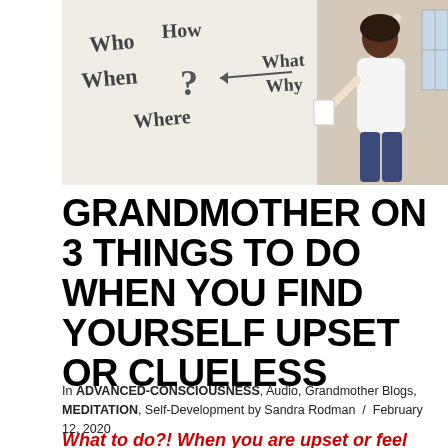[Figure (photo): A woman writing on a whiteboard with words: Who, How, When, Where, What, Why with arrows connecting them — question words mind map]
GRANDMOTHER ON 3 THINGS TO DO WHEN YOU FIND YOURSELF UPSET OR CLUELESS
In ADVANCED-CONSCIOUSNESS, Audio, Grandmother Blogs, MEDITATION, Self-Development by Sandra Rodman / February 12, 2020
What to do?! When you are upset or feel